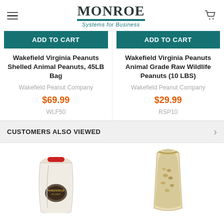MONROE Systems for Business
ADD TO CART
ADD TO CART
Wakefield Virginia Peanuts Shelled Animal Peanuts, 45LB Bag
Wakefield Virginia Peanuts Animal Grade Raw Wildlife Peanuts (10 LBS)
Wakefield Peanut Company
Wakefield Peanut Company
$69.99
$29.99
WLF50
RSP10
CUSTOMERS ALSO VIEWED
[Figure (photo): White bag of Wakefield Peanut Company peanuts with red tie at top]
[Figure (photo): Transparent bag of raw peanuts]